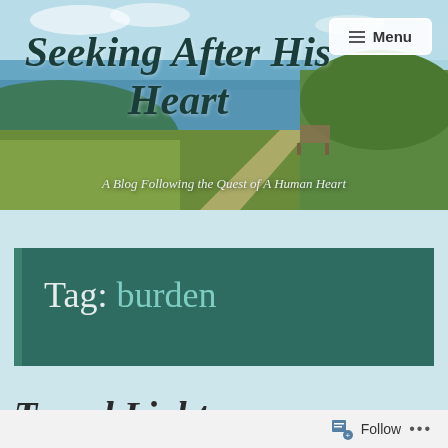[Figure (photo): Coastal landscape banner with cliffside path, ocean, grasses, and bench in background]
Seeking After His Heart
A Blog Following the Quest of A Human Heart
Tag: burden
Travel Light
Follow ...